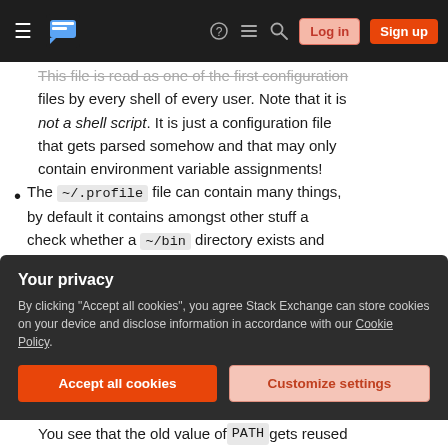Stack Exchange navigation bar with hamburger menu, logo, help, chat, search icons, Log in and Sign up buttons
This file is read as one of the first configuration files by every shell of every user. Note that it is not a shell script. It is just a configuration file that gets parsed somehow and that may only contain environment variable assignments!
The ~/.profile file can contain many things, by default it contains amongst other stuff a check whether a ~/bin directory exists and adds that to the user's existing PATH variable, like this (on older Ubuntu releases prior to 16.04 -- which adds it unconditionally -- and on
Your privacy
By clicking "Accept all cookies", you agree Stack Exchange can store cookies on your device and disclose information in accordance with our Cookie Policy.
Accept all cookies
Customize settings
You see that the old value of PATH gets reused